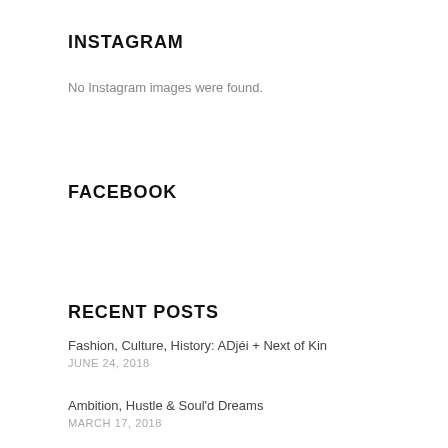INSTAGRAM
No Instagram images were found.
FACEBOOK
RECENT POSTS
Fashion, Culture, History: ADjéi + Next of Kin
JUNE 24, 2018
Ambition, Hustle & Soul'd Dreams
MARCH 17, 2018